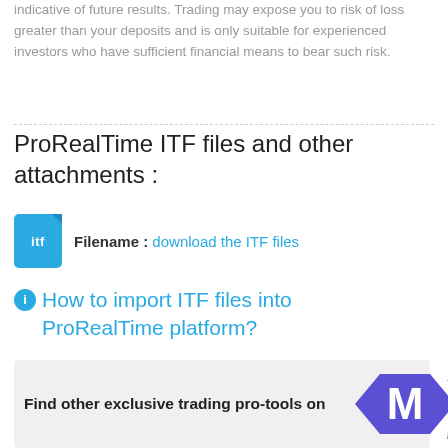indicative of future results. Trading may expose you to risk of loss greater than your deposits and is only suitable for experienced investors who have sufficient financial means to bear such risk.
ProRealTime ITF files and other attachments :
Filename : download the ITF files
How to import ITF files into ProRealTime platform?
[Figure (infographic): ProRealCode Marketplace banner with text 'Find other exclusive trading pro-tools on' and marketplace logo]